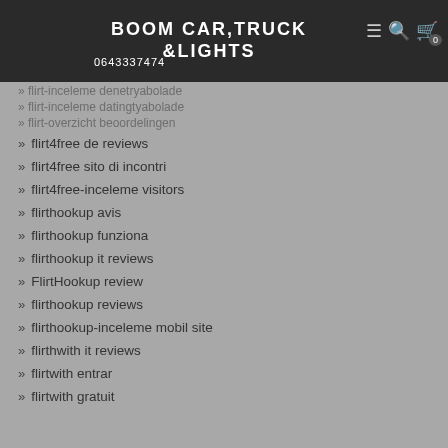BOOM CAR,TRUCK &LIGHTS 0643337474
flirt-inceleme denetryabolade
flirt-inceleme datingtyabolade
flirt-overzicht beoordelingen
flirt4free
flirt4free de reviews
flirt4free sito di incontri
flirt4free-inceleme visitors
flirthookup avis
flirthookup funziona
flirthookup it reviews
FlirtHookup review
flirthookup reviews
flirthookup-inceleme mobil site
flirthwith it reviews
flirtwith entrar
flirtwith gratuit